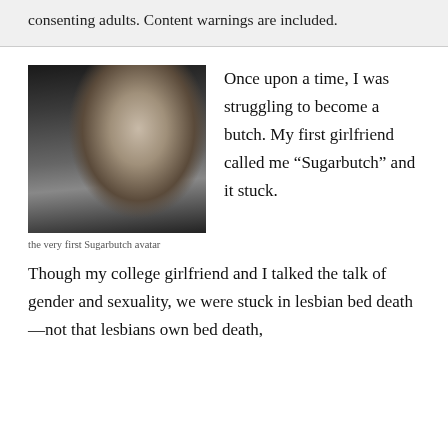consenting adults. Content warnings are included.
[Figure (photo): Black and white photograph of a person in a white button-up shirt, looking down, with bookshelves in the background. This is the very first Sugarbutch avatar.]
the very first Sugarbutch avatar
Once upon a time, I was struggling to become a butch. My first girlfriend called me “Sugarbutch” and it stuck. Though my college girlfriend and I talked the talk of gender and sexuality, we were stuck in lesbian bed death—not that lesbians own bed death,